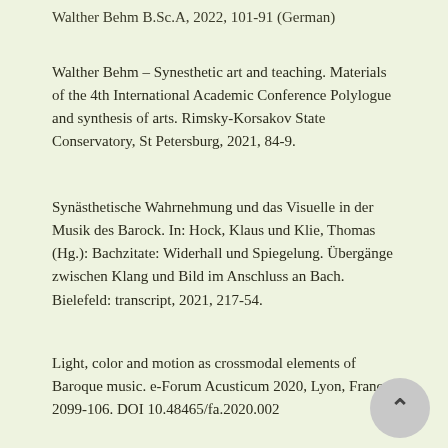Walther Behm B.Sc.A, 2022, 101-91 (German)
Walther Behm – Synesthetic art and teaching. Materials of the 4th International Academic Conference Polylogue and synthesis of arts. Rimsky-Korsakov State Conservatory, St Petersburg, 2021, 84-9.
Synästhetische Wahrnehmung und das Visuelle in der Musik des Barock. In: Hock, Klaus und Klie, Thomas (Hg.): Bachzitate: Widerhall und Spiegelung. Übergänge zwischen Klang und Bild im Anschluss an Bach. Bielefeld: transcript, 2021, 217-54.
Light, color and motion as crossmodal elements of Baroque music. e-Forum Acusticum 2020, Lyon, France, 2099-106. DOI 10.48465/fa.2020.002